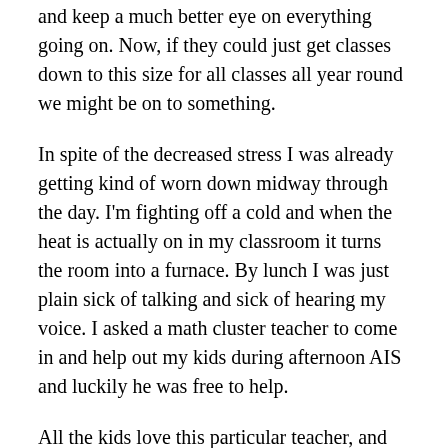and keep a much better eye on everything going on. Now, if they could just get classes down to this size for all classes all year round we might be on to something.
In spite of the decreased stress I was already getting kind of worn down midway through the day. I'm fighting off a cold and when the heat is actually on in my classroom it turns the room into a furnace. By lunch I was just plain sick of talking and sick of hearing my voice. I asked a math cluster teacher to come in and help out my kids during afternoon AIS and luckily he was free to help.
All the kids love this particular teacher, and for good reason. He acts like a crazy person in the classroom which is to say he's funny, dynamic and engages the kids in a way nobody else would dare to. Some of his approach is shocking even to me, but whatever works right? And if it means calling out kids who aren't getting